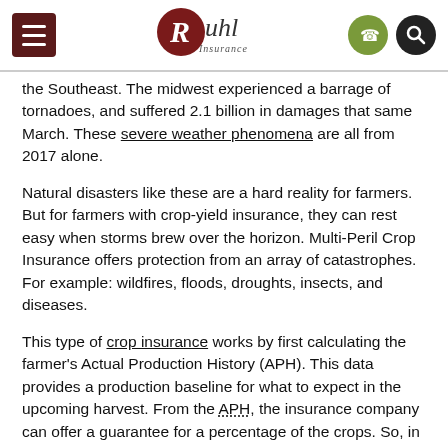Ruhl Insurance
the Southeast. The midwest experienced a barrage of tornadoes, and suffered 2.1 billion in damages that same March. These severe weather phenomena are all from 2017 alone.
Natural disasters like these are a hard reality for farmers. But for farmers with crop-yield insurance, they can rest easy when storms brew over the horizon. Multi-Peril Crop Insurance offers protection from an array of catastrophes. For example: wildfires, floods, droughts, insects, and diseases.
This type of crop insurance works by first calculating the farmer's Actual Production History (APH). This data provides a production baseline for what to expect in the upcoming harvest. From the APH, the insurance company can offer a guarantee for a percentage of the crops. So, in the event of a weather disaster, and subsequent crop